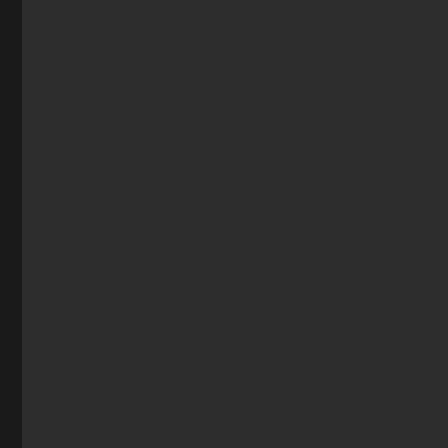and pret soo then wou be mor of then then then are of you If they can get the gov to give then well they